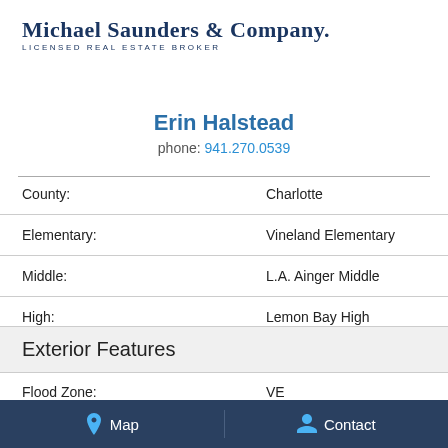[Figure (logo): Michael Saunders & Company licensed real estate broker logo]
Erin Halstead
phone: 941.270.0539
| Field | Value |
| --- | --- |
| County: | Charlotte |
| Elementary: | Vineland Elementary |
| Middle: | L.A. Ainger Middle |
| High: | Lemon Bay High |
Exterior Features
| Field | Value |
| --- | --- |
| Flood Zone: | VE |
| Patio / Porch: | Covered |
Map   Contact